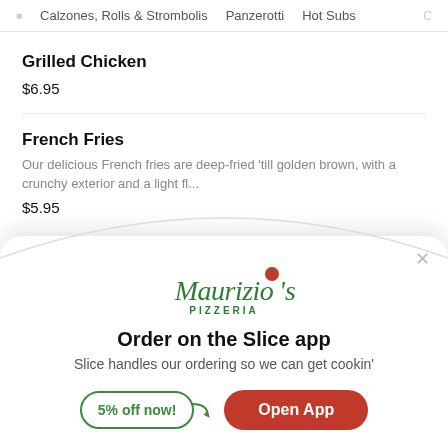Calzones, Rolls & Strombolis   Panzerotti   Hot Subs
Grilled Chicken
$6.95
French Fries
Our delicious French fries are deep-fried 'till golden brown, with a crunchy exterior and a light fl...
$5.95
[Figure (logo): Maurizio's Pizzeria logo in green cursive script with a red tomato as the dot on the 'i']
Order on the Slice app
Slice handles our ordering so we can get cookin'
5% off now!   Open App